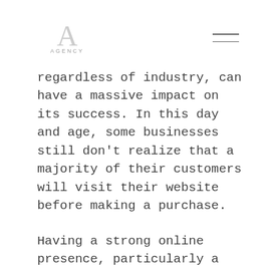[Figure (logo): Agency logo with large decorative letter A and text AGENCY below]
regardless of industry, can have a massive impact on its success. In this day and age, some businesses still don't realize that a majority of their customers will visit their website before making a purchase.
Having a strong online presence, particularly a website, can be make or break for generating more revenue. Yes, the quality of your website impacts results, but the purpose of